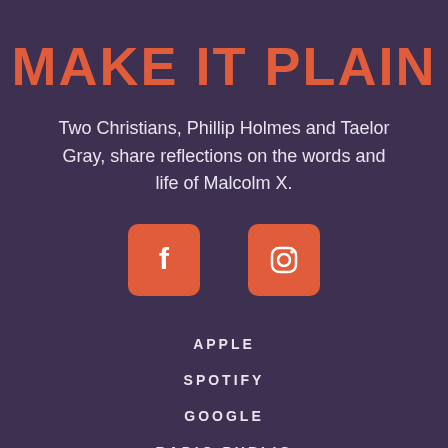MAKE IT PLAIN
Two Christians, Phillip Holmes and Taelor Gray, share reflections on the words and life of Malcolm X.
[Figure (illustration): Orange rounded-square Facebook icon button]
[Figure (illustration): Orange rounded-square Instagram icon button]
APPLE
SPOTIFY
GOOGLE
RADIO PUBLIC